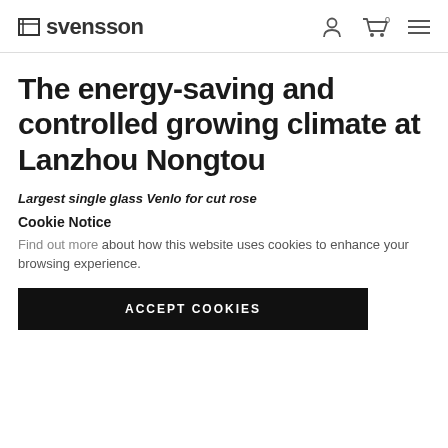svensson
The energy-saving and controlled growing climate at Lanzhou Nongtou
Largest single glass Venlo for cut rose
Cookie Notice
Find out more about how this website uses cookies to enhance your browsing experience.
ACCEPT COOKIES